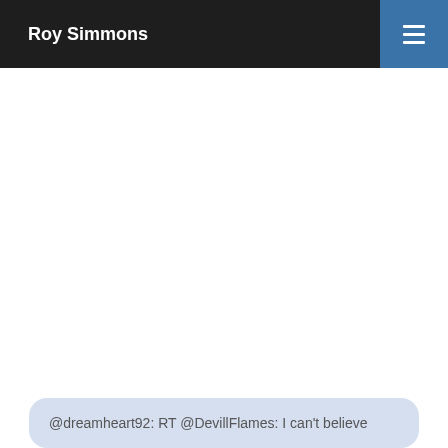Roy Simmons
@dreamheart92: RT @DevillFlames: I can't believe